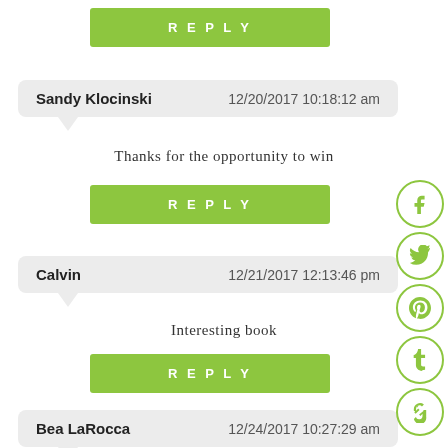REPLY
Sandy Klocinski   12/20/2017 10:18:12 am
Thanks for the opportunity to win
REPLY
Calvin   12/21/2017 12:13:46 pm
Interesting book
REPLY
Bea LaRocca   12/24/2017 10:27:29 am